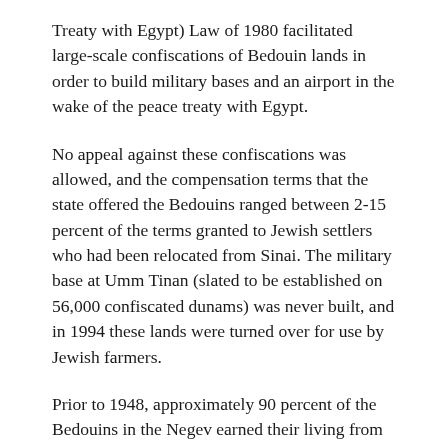Treaty with Egypt) Law of 1980 facilitated large-scale confiscations of Bedouin lands in order to build military bases and an airport in the wake of the peace treaty with Egypt.
No appeal against these confiscations was allowed, and the compensation terms that the state offered the Bedouins ranged between 2-15 percent of the terms granted to Jewish settlers who had been relocated from Sinai. The military base at Umm Tinan (slated to be established on 56,000 confiscated dunams) was never built, and in 1994 these lands were turned over for use by Jewish farmers.
Prior to 1948, approximately 90 percent of the Bedouins in the Negev earned their living from agriculture and 10 percent subsisted by raising livestock. Today, over 90 percent of Bedouins in Israel are wage laborers. The state's policy from 1948 until today has been to prevent the Bedouins from maintaining their ties to the land (12) by making their traditional lifestyle infeasible. This can only be accomplished